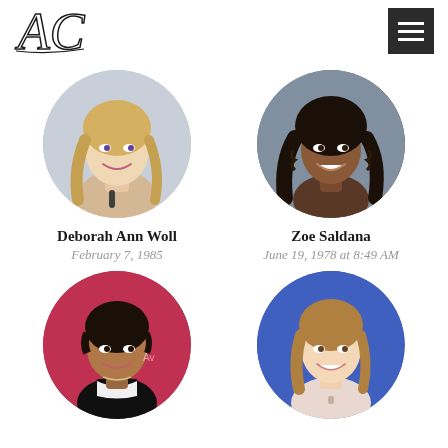AC logo and navigation menu
[Figure (photo): Circular portrait photo of Deborah Ann Woll, blonde woman smiling]
Deborah Ann Woll
February 7, 1985
[Figure (photo): Circular portrait photo of Zoe Saldana, woman with long dark curly hair smiling]
Zoe Saldana
June 19, 1978 at 8:49 AM
[Figure (photo): Circular portrait photo of a woman with short dark hair, red background]
[Figure (photo): Circular portrait photo of a young woman with light brown hair, blue background]